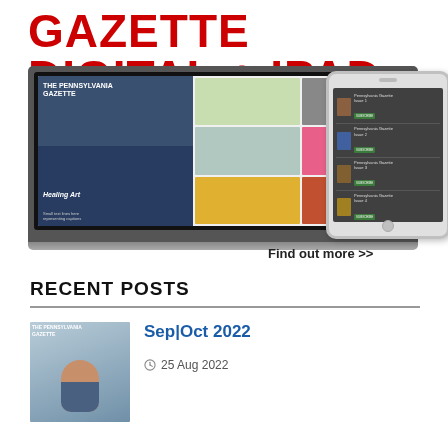GAZETTE DIGITAL + IPAD
[Figure (screenshot): Laptop showing The Pennsylvania Gazette digital edition with Healing Art cover story, alongside an iPad showing a list of magazine issues]
Find out more >>
RECENT POSTS
[Figure (photo): Thumbnail image of a woman, cover of Sep|Oct 2022 Pennsylvania Gazette]
Sep|Oct 2022
25 Aug 2022